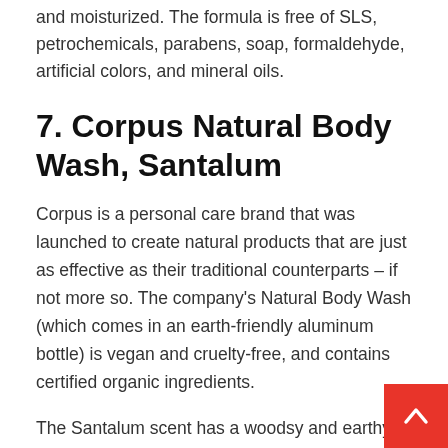and moisturized. The formula is free of SLS, petrochemicals, parabens, soap, formaldehyde, artificial colors, and mineral oils.
7. Corpus Natural Body Wash, Santalum
Corpus is a personal care brand that was launched to create natural products that are just as effective as their traditional counterparts – if not more so. The company's Natural Body Wash (which comes in an earth-friendly aluminum bottle) is vegan and cruelty-free, and contains certified organic ingredients.
The Santalum scent has a woodsy and earthy feel, featuring rich notes of sandalwood, Texas cedar, and amber. The Natural Body Wash formula cont blend of seed oils and plant and flower extracts that